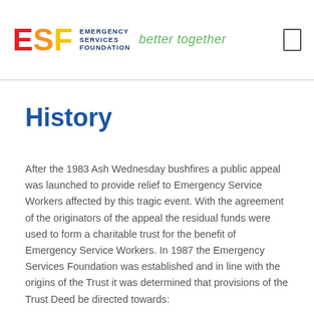ESF Emergency Services Foundation better together
History
After the 1983 Ash Wednesday bushfires a public appeal was launched to provide relief to Emergency Service Workers affected by this tragic event. With the agreement of the originators of the appeal the residual funds were used to form a charitable trust for the benefit of Emergency Service Workers. In 1987 the Emergency Services Foundation was established and in line with the origins of the Trust it was determined that provisions of the Trust Deed be directed towards: